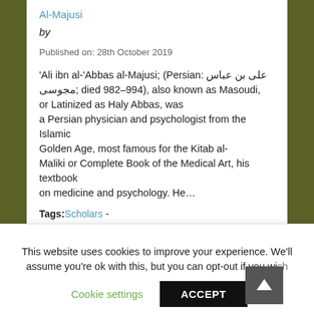Al-Majusi
by
Published on: 28th October 2019
'Ali ibn al-'Abbas al-Majusi; (Persian: علی بن عباس مجوسی; died 982–994), also known as Masoudi, or Latinized as Haly Abbas, was a Persian physician and psychologist from the Islamic Golden Age, most famous for the Kitab al-Maliki or Complete Book of the Medical Art, his textbook on medicine and psychology. He…
Tags: Scholars -
Leonardo da Vinci
by
This website uses cookies to improve your experience. We'll assume you're ok with this, but you can opt-out if you wish